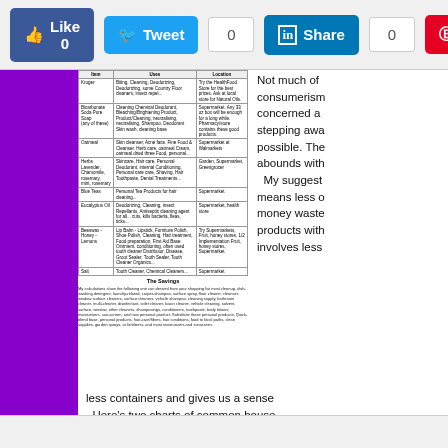Like 0   Tweet 0   Share 0   Save 0
[Figure (table-as-image): A table listing household ingredients with columns for Item, Uses, and Location, followed by a savings summary paragraph. Items include Kroger, Bicarbonate Soda/Pure Soap, Oatmeal, Herbs, Blue Teas, Eucalyptus Oil, Beeswax/Honey/Lemons, Salt. Caption reads 'The Savings'.]
Not much of consumerism concerned a stepping away possible. The abounds with My suggests means less money wasted products with involves less less containers and gives us a sense Here's two charts of common house
Basic Hous
Sustainable Alternatives
Here's my website link to more i